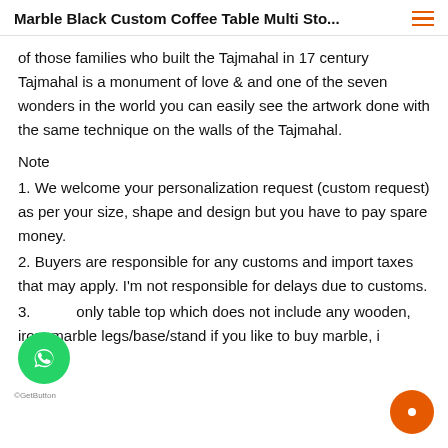Marble Black Custom Coffee Table Multi Sto...
of those families who built the Tajmahal in 17 century Tajmahal is a monument of love & and one of the seven wonders in the world you can easily see the artwork done with the same technique on the walls of the Tajmahal.
Note
1. We welcome your personalization request (custom request) as per your size, shape and design but you have to pay spare money.
2. Buyers are responsible for any customs and import taxes that may apply. I'm not responsible for delays due to customs.
3. only table top which does not include any wooden, iron, marble legs/base/stand if you like to buy marble, i